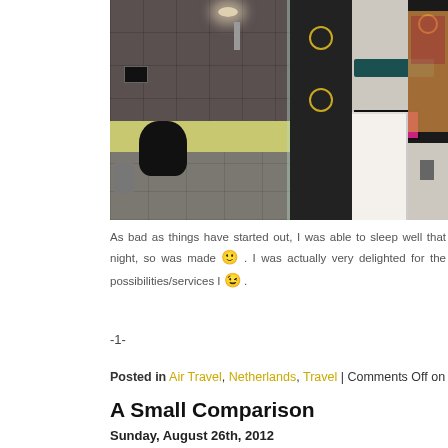[Figure (photo): Two hotel room photos side by side: left shows a dark-tiled bathroom with shower, black toilet, and lime green accent stripe; right shows a dark hotel bedroom with black cabinetry, pink/magenta TV screen, sink, and white bed.]
As bad as things have started out, I was able to sleep well that night, so was made 🙂 . I was actually very delighted for the possibilities/services I 😉 .
-1-
Posted in Air Travel, Netherlands, Travel | Comments Off on A Hard
A Small Comparison
Sunday, August 26th, 2012